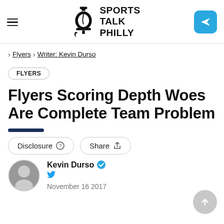Sports Talk Philly
Flyers › Writer: Kevin Durso
FLYERS
Flyers Scoring Depth Woes Are Complete Team Problem
Disclosure  Share
Kevin Durso
November 16 2017